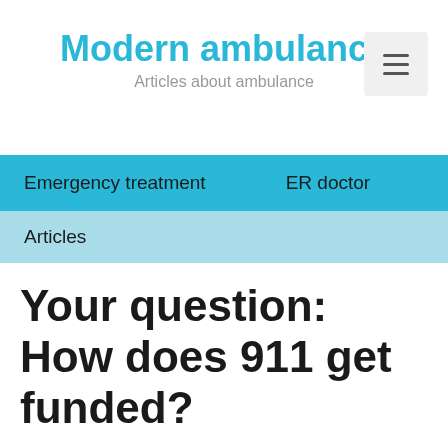Modern ambulance
Articles about ambulance
Emergency treatment   ER doctor
Articles
Your question: How does 911 get funded?